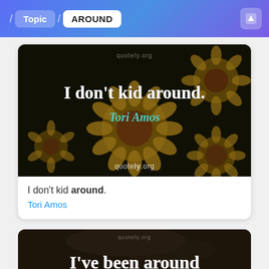/ Topic / AROUND
[Figure (screenshot): Quote image card showing sunflowers background with text 'I don't kid around.' and author 'Tori Amos', watermarked with quotely.org]
I don't kid around.
Tori Amos
[Figure (screenshot): Partial quote image showing an animal background with text 'I've been around' beginning to appear]